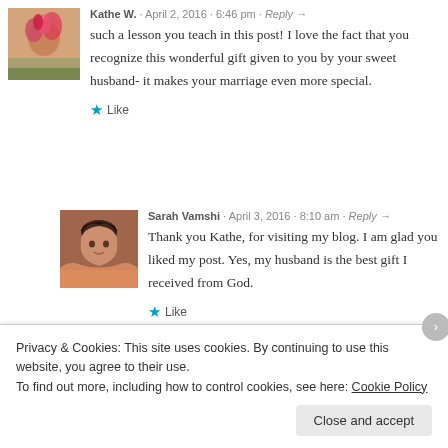[Figure (photo): Avatar photo of Kathe W. - flowers/pink blooms]
Kathe W. · April 2, 2016 · 6:46 pm · Reply →
such a lesson you teach in this post! I love the fact that you recognize this wonderful gift given to you by your sweet husband- it makes your marriage even more special.
★ Like
[Figure (photo): Avatar photo of Sarah Vamshi - woman with long dark hair]
Sarah Vamshi · April 3, 2016 · 8:10 am · Reply →
Thank you Kathe, for visiting my blog. I am glad you liked my post. Yes, my husband is the best gift I received from God.
★ Like
Privacy & Cookies: This site uses cookies. By continuing to use this website, you agree to their use.
To find out more, including how to control cookies, see here: Cookie Policy
Close and accept